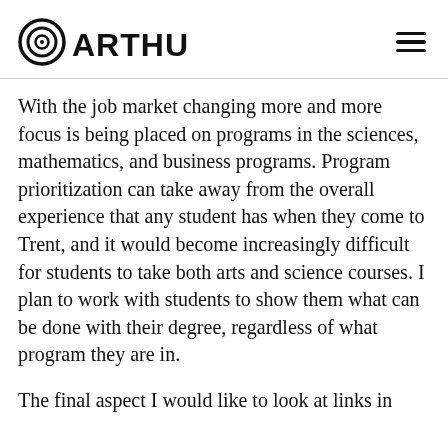Arthur
With the job market changing more and more focus is being placed on programs in the sciences, mathematics, and business programs. Program prioritization can take away from the overall experience that any student has when they come to Trent, and it would become increasingly difficult for students to take both arts and science courses. I plan to work with students to show them what can be done with their degree, regardless of what program they are in.
The final aspect I would like to look at links in